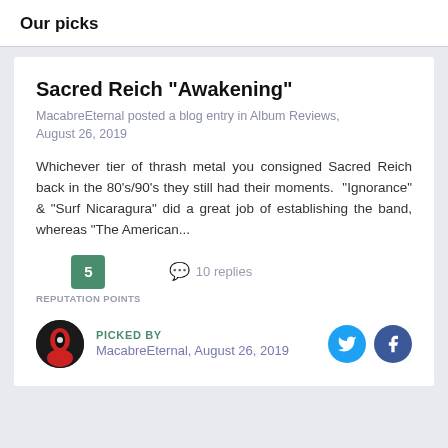Our picks
Sacred Reich "Awakening"
MacabreEternal posted a blog entry in Album Reviews, August 26, 2019
Whichever tier of thrash metal you consigned Sacred Reich back in the 80's/90's they still had their moments.  "Ignorance" & "Surf Nicaragura" did a great job of establishing the band, whereas "The American...
5 REPUTATION POINTS   10 replies
PICKED BY MacabreEternal, August 26, 2019